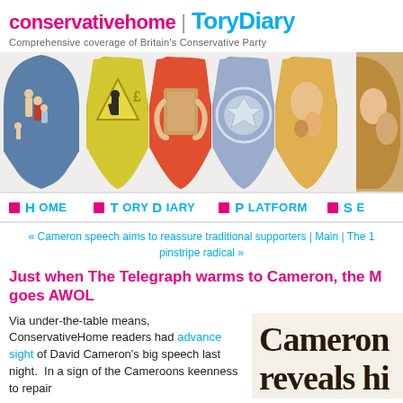conservativehome | ToryDiary
Comprehensive coverage of Britain's Conservative Party
[Figure (illustration): Five illustrated shield/badge designs arranged side by side showing various scenes: a family, a construction worker, hands holding a book, a police badge, and a mother and child figure.]
HOME | TORYDIARY | PLATFORM | SE...
« Cameron speech aims to reassure traditional supporters | Main | The 1 pinstripe radical »
Just when The Telegraph warms to Cameron, the M goes AWOL
Via under-the-table means, ConservativeHome readers had advance sight of David Cameron's big speech last night.  In a sign of the Cameroons keenness to repair
[Figure (photo): Newspaper clipping showing large bold text reading 'Cameron reveals hi']